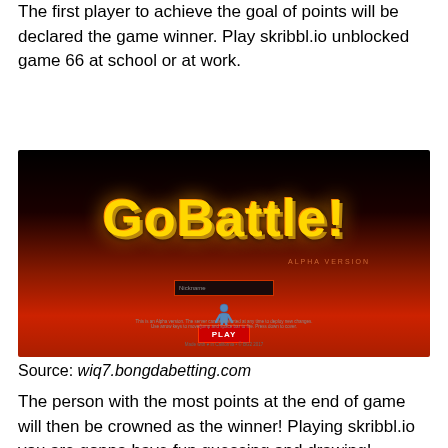The first player to achieve the goal of points will be declared the game winner. Play skribbl.io unblocked game 66 at school or at work.
[Figure (screenshot): Screenshot of GoBattle! game website showing the game title in large yellow text on a dark orange/black gradient background, with a Nickname input field, a character icon, a PLAY button, and footer text. ALPHA VERSION label in upper right.]
Source: wiq7.bongdabetting.com
The person with the most points at the end of game will then be crowned as the winner! Playing skribbl.io you are gonna have fun guessing and drawing!